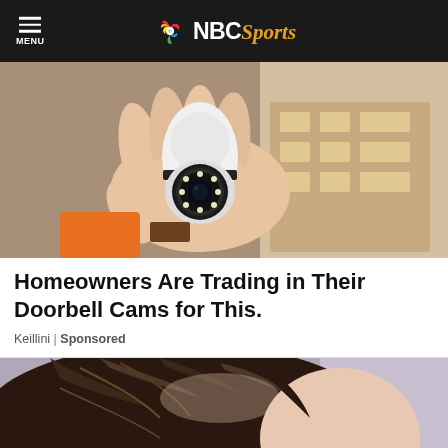NBC Sports
[Figure (photo): A hand holding a small white security camera (bullet/PTZ style) with LED ring and lens, in front of cardboard box with white items.]
Homeowners Are Trading in Their Doorbell Cams for This.
Keillini | Sponsored
[Figure (photo): Close-up photo of a person's hair, viewed from behind/side, dark brown hair.]